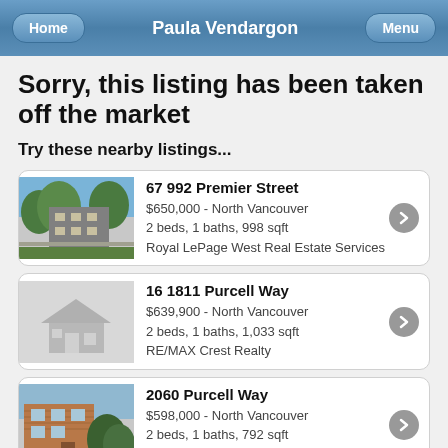Home | Paula Vendargon | Menu
Sorry, this listing has been taken off the market
Try these nearby listings...
67 992 Premier Street - $650,000 - North Vancouver - 2 beds, 1 baths, 998 sqft - Royal LePage West Real Estate Services
16 1811 Purcell Way - $639,900 - North Vancouver - 2 beds, 1 baths, 1,033 sqft - RE/MAX Crest Realty
2060 Purcell Way - $598,000 - North Vancouver - 2 beds, 1 baths, 792 sqft - RE/MAX Rossetti Realty